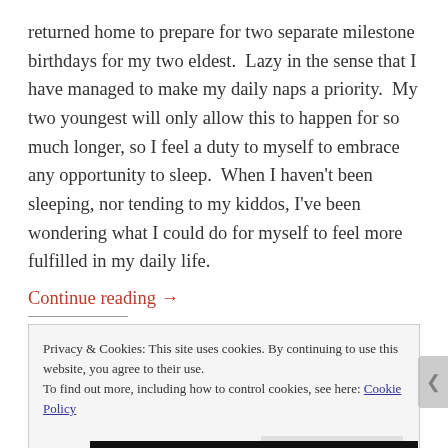returned home to prepare for two separate milestone birthdays for my two eldest.  Lazy in the sense that I have managed to make my daily naps a priority.  My two youngest will only allow this to happen for so much longer, so I feel a duty to myself to embrace any opportunity to sleep.  When I haven't been sleeping, nor tending to my kiddos, I've been wondering what I could do for myself to feel more fulfilled in my daily life.
Continue reading →
Privacy & Cookies: This site uses cookies. By continuing to use this website, you agree to their use.
To find out more, including how to control cookies, see here: Cookie Policy
Close and accept